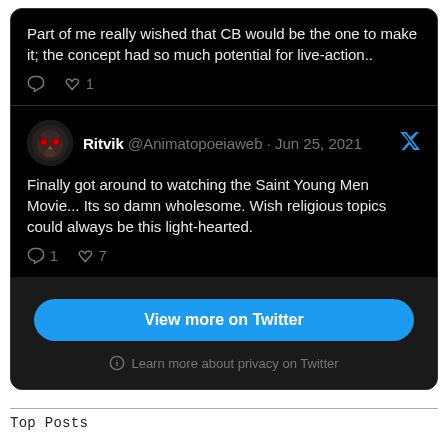Part of me really wished that CB would be the one to make it; the concept had so much potential for live-action..
Ritvik @Animatopoeiaweb · Jun 25, 2021
Finally got around to watching the Saint Young Men Movie... Its so damn wholesome. Wish religious topics could always be this light-hearted.
View more on Twitter
Learn more about privacy on Twitter
Top Posts